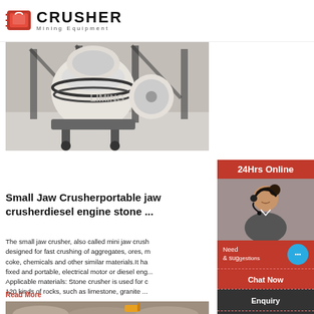CRUSHER Mining Equipment
[Figure (photo): Industrial cone crusher machine in a warehouse setting, white and dark colored, with watermark LIMING]
Small Jaw Crusherportable jaw crusherdiesel engine stone ...
The small jaw crusher, also called mini jaw crusher, is designed for fast crushing of aggregates, ores, minerals, coke, chemicals and other similar materials.It has two type: fixed and portable, electrical motor or diesel engine. Applicable materials: Stone crusher is used for crushing over 120 kinds of rocks, such as limestone, granite ...
Read More
[Figure (photo): Partial image of excavation/quarry site with rocks and construction equipment]
[Figure (photo): 24Hrs Online sidebar with customer service representative wearing headset]
Need & suggestions
Chat Now
Enquiry
limingjlmofen@sina.com